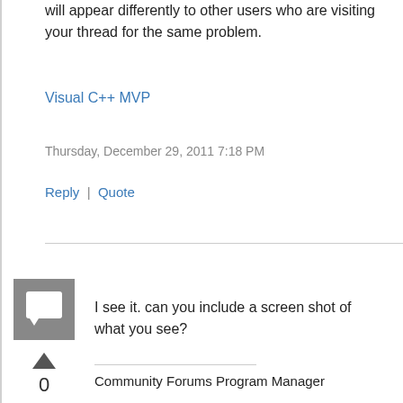will appear differently to other users who are visiting your thread for the same problem.
Visual C++ MVP
Thursday, December 29, 2011 7:18 PM
Reply  |  Quote
[Figure (illustration): Grey square avatar icon with a speech bubble symbol]
0
Sign in to vote
I see it. can you include a screen shot of what you see?
Community Forums Program Manager
Friday, December 30, 2011 2:43 AM